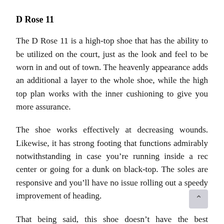D Rose 11
The D Rose 11 is a high-top shoe that has the ability to be utilized on the court, just as the look and feel to be worn in and out of town. The heavenly appearance adds an additional a layer to the whole shoe, while the high top plan works with the inner cushioning to give you more assurance.
The shoe works effectively at decreasing wounds. Likewise, it has strong footing that functions admirably notwithstanding in case you’re running inside a rec center or going for a dunk on black-top. The soles are responsive and you’ll have no issue rolling out a speedy improvement of heading.
That being said, this shoe doesn’t have the best lockdown. The fit is bounty cozy, yet it will not hold your foot inside, just as other premium choices